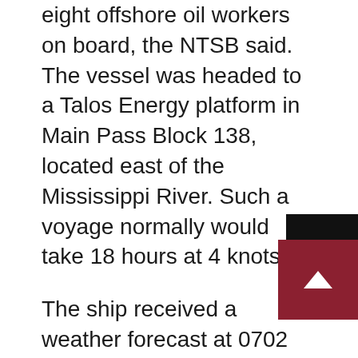eight offshore oil workers on board, the NTSB said. The vessel was headed to a Talos Energy platform in Main Pass Block 138, located east of the Mississippi River. Such a voyage normally would take 18 hours at 4 knots.
The ship received a weather forecast at 0702 that morning calling for 9- to 12-knot winds with 3-foot seas for that afternoon — conditions that were well within SEACOR Power's operating parameters. The National Weather Service issued a severe thunderstorm watch for Port Fourchon and surrounding areas at 1206, and at 1427 the service warned of thunderstorms and strong winds offshore. It is unclear if the ship or its crew received these or other updated forecasts before departing.